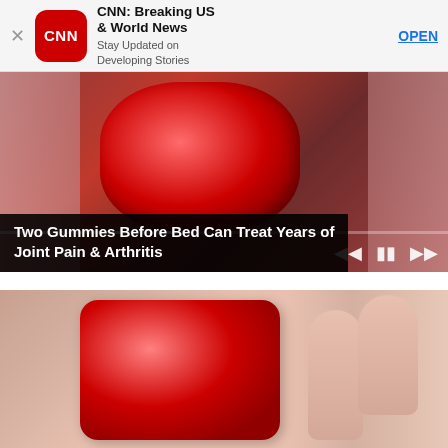[Figure (screenshot): CNN app banner advertisement with logo, title 'CNN: Breaking US & World News', subtitle 'Stay Updated on Developing Stories', and OPEN button]
[Figure (photo): Video thumbnail showing a red sugar-coated gummy candy held between fingers, with media playback controls and overlay text: 'Two Gummies Before Bed Can Treat Years of Joint Pain & Arthritis']
[Figure (photo): Close-up photo of a red sugar-coated gummy candy being held between two fingers]